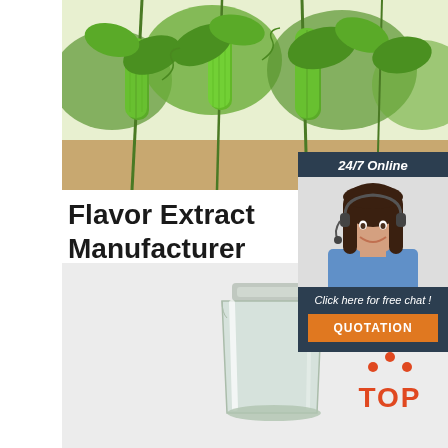[Figure (photo): Photo of green cucumber or bitter melon plants hanging from vines with leaves, outdoor garden setting]
[Figure (photo): Chat support widget with dark navy background showing 24/7 Online header, photo of smiling woman with headset, click here for free chat text, and orange QUOTATION button]
Flavor Extract Manufacturer Association (FEMA)
2021-9-15u2002·u2002The Flavor and Extract Manufacturers Association of the United States (FEMA) is composed of flavor manufacturers, flavor users, flavor ingredient ...
Get Price
[Figure (photo): Bottom section showing a glass jar/container on a light grey background with a red/orange TOP badge logo in the bottom right]
[Figure (logo): TOP logo with orange dots arranged in an arc above the letters TOP in orange]